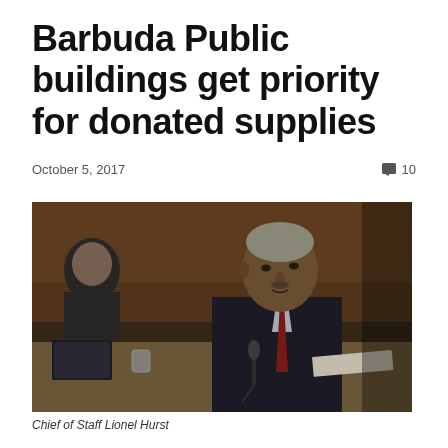Barbuda Public buildings get priority for donated supplies
October 5, 2017
10
[Figure (photo): Chief of Staff Lionel Hurst seated at a table in a formal setting, wearing a dark suit and red tie, with a microphone in front of him and another person partially visible in the background.]
Chief of Staff Lionel Hurst